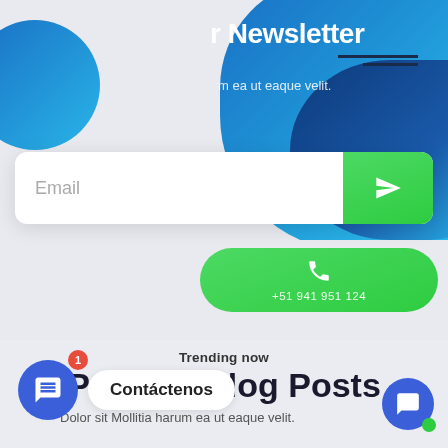r Newsletter
m ea ut eaque velit.
[Figure (screenshot): Email input field with green send button arrow icon]
[Figure (screenshot): Green phone call button with phone icon and number +51 941 951 124]
Trending now
Popular Blog Posts
Dolor sit Mollitia harum ea ut eaque velit.
[Figure (screenshot): Blue chat bubble widget with red notification badge showing 1, and Contáctenos label]
[Figure (screenshot): Small blue chat bubble widget at bottom right with green online dot]